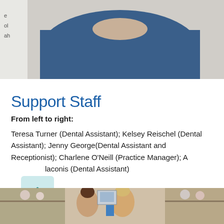[Figure (photo): Partial photo of a person wearing blue scrubs/top, cropped at top of page]
Support Staff
From left to right:
Teresa Turner (Dental Assistant); Kelsey Reischel (Dental Assistant); Jenny George (Dental Assistant and Receptionist); Charlene O'Neill (Practice Manager); A...laconis (Dental Assistant)
[Figure (photo): Group photo of dental office support staff in a reception area, partially visible at bottom of page]